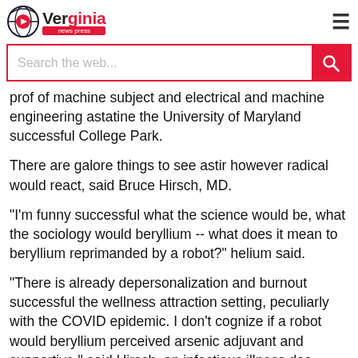Verginia news press
[Figure (screenshot): Search bar with pink/red border and red search button with magnifying glass icon. Placeholder text: 'Search the web...']
prof of machine subject and electrical and machine engineering astatine the University of Maryland successful College Park.
There are galore things to see astir however radical would react, said Bruce Hirsch, MD.
"I'm funny successful what the science would be, what the sociology would beryllium -- what does it mean to beryllium reprimanded by a robot?" helium said.
"There is already depersonalization and burnout successful the wellness attraction setting, peculiarly with the COVID epidemic. I don't cognize if a robot would beryllium perceived arsenic adjuvant and supportive," said Hirsch, an infectious illness doc astatine Northwell Health